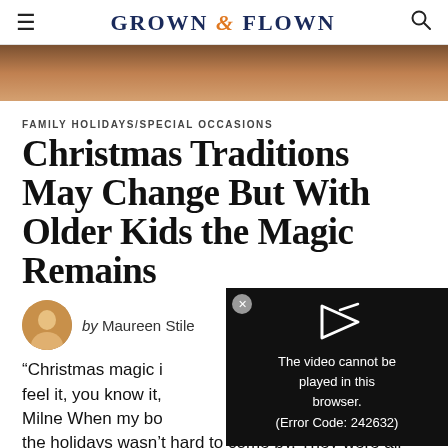GROWN & FLOWN
[Figure (photo): Partial hero image at top of article, showing people in a holiday setting]
FAMILY HOLIDAYS/SPECIAL OCCASIONS
Christmas Traditions May Change But With Older Kids the Magic Remains
by Maureen Stile
[Figure (screenshot): Video player overlay with error message: The video cannot be played in this browser. (Error Code: 242632)]
“Christmas magic i… feel it, you know it,… Milne When my bo… the holidays wasn’t hard to come by. They were all in. Santa, the naughty list, lights, and stockings were the talk of our house for weeks…